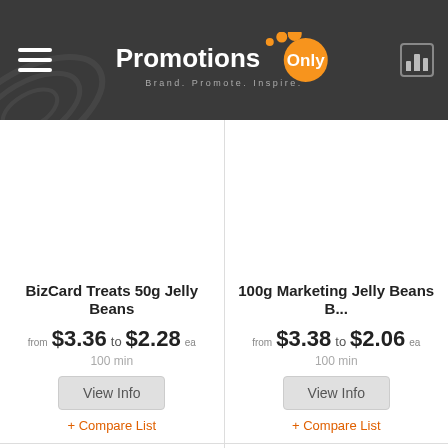PromotionsOnly — Brand. Promote. Inspire.
BizCard Treats 50g Jelly Beans — from $3.36 to $2.28 ea — 100 min
100g Marketing Jelly Beans B... — from $3.38 to $2.06 ea — 100 min